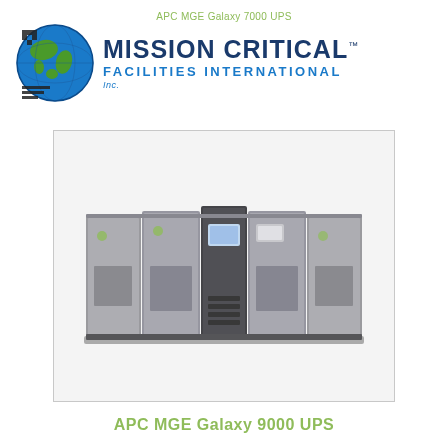APC MGE Galaxy 7000 UPS
[Figure (logo): Mission Critical Facilities International logo with globe graphic and company name in blue text]
[Figure (photo): APC MGE Galaxy 9000 UPS unit - large industrial uninterruptible power supply system with multiple gray cabinet modules side by side]
APC MGE Galaxy 9000 UPS